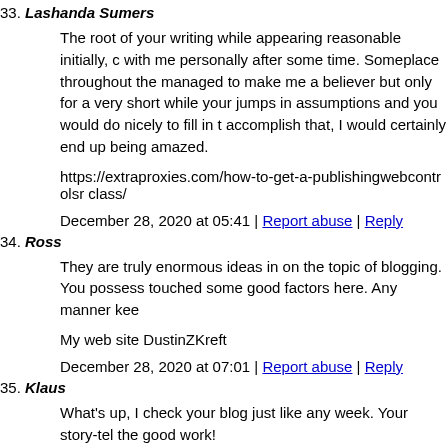33. Lashanda Sumers
The root of your writing while appearing reasonable initially, c with me personally after some time. Someplace throughout the managed to make me a believer but only for a very short while your jumps in assumptions and you would do nicely to fill in t accomplish that, I would certainly end up being amazed.
https://extraproxies.com/how-to-get-a-publishingwebcontrolsr class/
December 28, 2020 at 05:41 | Report abuse | Reply
34. Ross
They are truly enormous ideas in on the topic of blogging. You possess touched some good factors here. Any manner kee
My web site DustinZKreft
December 28, 2020 at 07:01 | Report abuse | Reply
35. Klaus
What's up, I check your blog just like any week. Your story-tel the good work!
Also visit my web-site TannerOLam